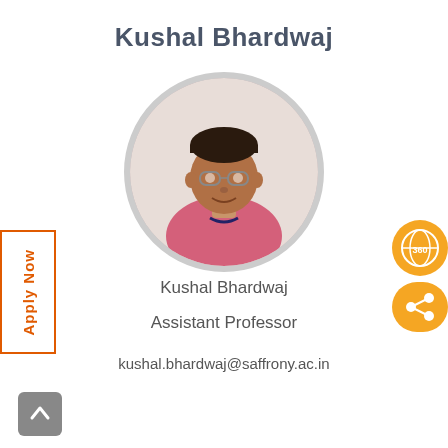Kushal Bhardwaj
[Figure (photo): Circular profile photo of Kushal Bhardwaj, a young man wearing glasses and a pink shirt with a navy lanyard]
Kushal Bhardwaj
Assistant Professor
kushal.bhardwaj@saffrony.ac.in